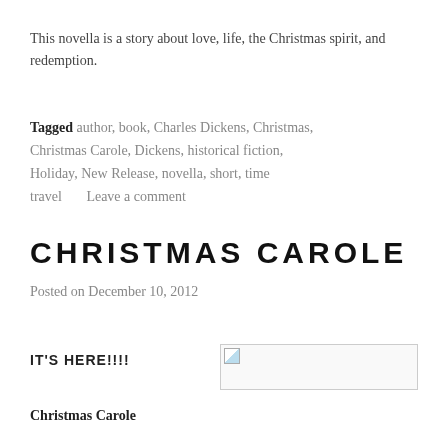This novella is a story about love, life, the Christmas spirit, and redemption.
Tagged author, book, Charles Dickens, Christmas, Christmas Carole, Dickens, historical fiction, Holiday, New Release, novella, short, time travel     Leave a comment
CHRISTMAS CAROLE
Posted on December 10, 2012
IT'S HERE!!!!
[Figure (photo): Broken/missing image placeholder showing a small image icon in top-left corner of a bordered box]
Christmas Carole